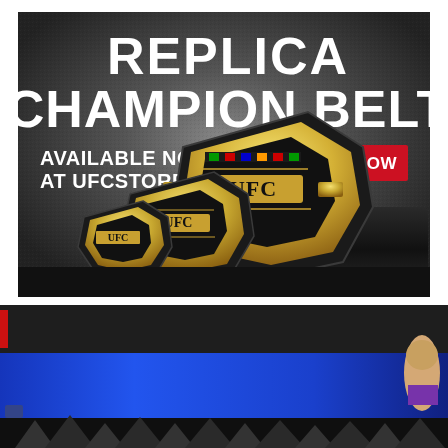[Figure (photo): UFC Replica Champion Belt advertisement showing three gold championship belts of different sizes on a dark textured background. Text reads 'REPLICA CHAMPION BELT AVAILABLE NOW AT UFCSTORE.COM' with a red 'SHOP NOW' button.]
[Figure (screenshot): Bottom portion of a webpage showing a dark navigation bar and a blue banner with a woman on the right side and silhouette figures at the bottom.]